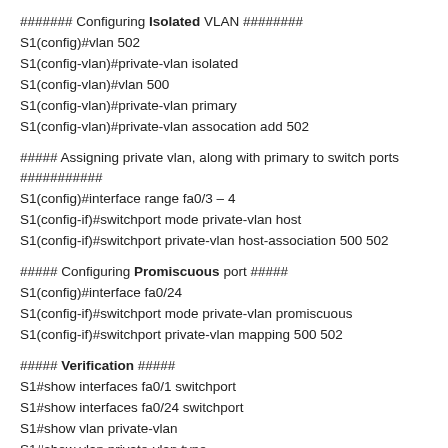####### Configuring Isolated VLAN ########
S1(config)#vlan 502
S1(config-vlan)#private-vlan isolated
S1(config-vlan)#vlan 500
S1(config-vlan)#private-vlan primary
S1(config-vlan)#private-vlan assocation add 502
##### Assigning private vlan, along with primary to switch ports ###########
S1(config)#interface range fa0/3 – 4
S1(config-if)#switchport mode private-vlan host
S1(config-if)#switchport private-vlan host-association 500 502
##### Configuring Promiscuous port #####
S1(config)#interface fa0/24
S1(config-if)#switchport mode private-vlan promiscuous
S1(config-if)#switchport private-vlan mapping 500 502
##### Verification #####
S1#show interfaces fa0/1 switchport
S1#show interfaces fa0/24 switchport
S1#show vlan private-vlan
S1#show vlan private-vlan type